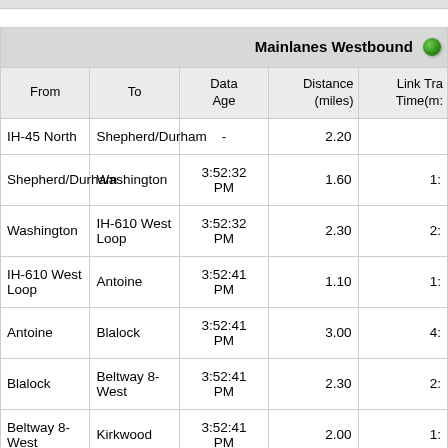| From | To | Data Age | Distance (miles) | Link Travel Time(m:s) |
| --- | --- | --- | --- | --- |
| IH-45 North | Shepherd/Durham | - | 2.20 |  |
| Shepherd/Durham | Washington | 3:52:32 PM | 1.60 | 1: |
| Washington | IH-610 West Loop | 3:52:32 PM | 2.30 | 2: |
| IH-610 West Loop | Antoine | 3:52:41 PM | 1.10 | 1: |
| Antoine | Blalock | 3:52:41 PM | 3.00 | 4: |
| Blalock | Beltway 8-West | 3:52:41 PM | 2.30 | 2: |
| Beltway 8-West | Kirkwood | 3:52:41 PM | 2.00 | 1: |